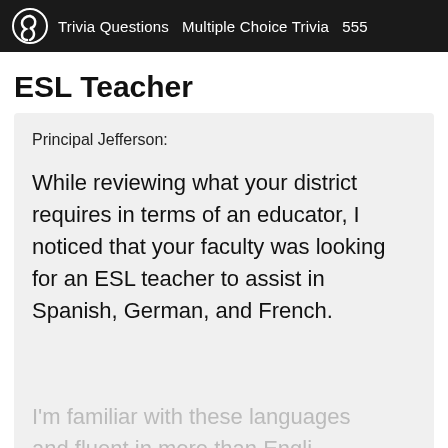Trivia Questions   Multiple Choice Trivia   555
ESL Teacher
Principal Jefferson:

While reviewing what your district requires in terms of an educator, I noticed that your faculty was looking for an ESL teacher to assist in Spanish, German, and French.
I'm familiar with these languages and fluent in more than Engli...